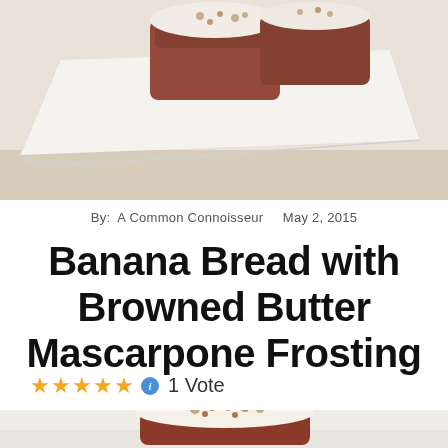[Figure (photo): Top photo of banana bread with white frosting on a white cloth/linen background, viewed from above]
By:  A Common Connoisseur    May 2, 2015
Banana Bread with Browned Butter Mascarpone Frosting
★★★★★ ℹ 1 Vote
[Figure (photo): Bottom photo of banana bread loaf with white frosting and chopped nuts on top, on a white surface]